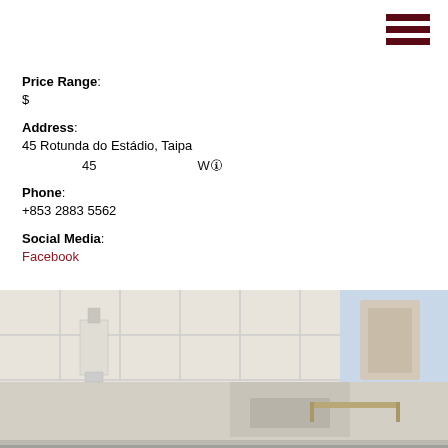[Figure (other): Hamburger menu icon (three dark red horizontal bars) in top right corner]
Price Range: $
Address: 45 Rotunda do Estádio, Taipa
45    W🛜
Phone: +853 2883 5562
Social Media: Facebook
[Figure (photo): Interior photo of a tiled kitchen/bathroom countertop area with soap dispenser, sink, and fixtures visible]